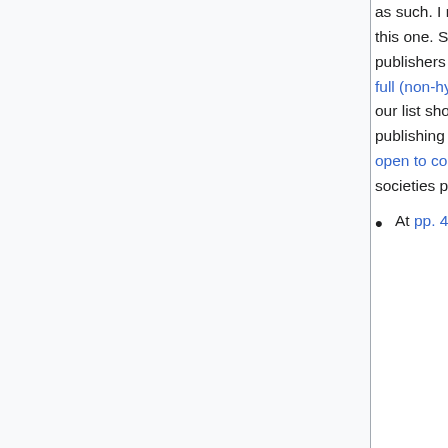as such. I make many concessions to society publishers, but I cannot make this one. Since 2007, Caroline Sutton and I have maintained a list of society publishers of OA journals. In 2007 we found 425 societies publishing 450 full (non-hybrid) OA journals. In 2011 we published a second edition of our list showing 530 societies publishing 616 full OA journals. After publishing our 2011 results, we posted our list to a Google spreadsheet open to community editing. As of February 24, 2014, it showed 848 societies publishing 801 full (non-hybrid) OA journals.
At pp. 40-41, I describe the sense